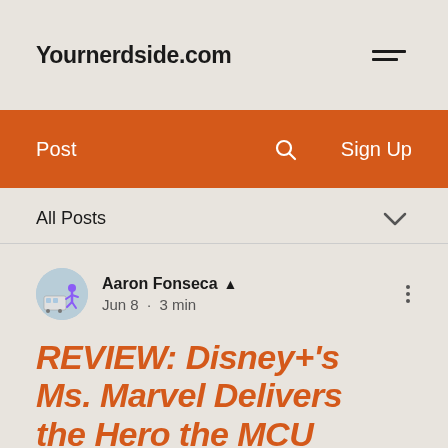Yournerdside.com
Post  Sign Up
All Posts
Aaron Fonseca  Jun 8 · 3 min
REVIEW: Disney+'s Ms. Marvel Delivers the Hero the MCU Deserves
With so many films and now streaming series within the Marvel Cinematic